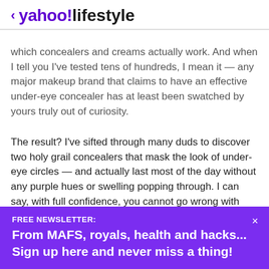< yahoo!lifestyle
which concealers and creams actually work. And when I tell you I've tested tens of hundreds, I mean it — any major makeup brand that claims to have an effective under-eye concealer has at least been swatched by yours truly out of curiosity.
The result? I've sifted through many duds to discover two holy grail concealers that mask the look of under-eye circles — and actually last most of the day without any purple hues or swelling popping through. I can say, with full confidence, you cannot go wrong with either IT Cosmetics Bye Bye Under Eye Concealer ($33 at QVC) or
FREE NEWSLETTER:
From MAFS, royals, health and hacks... Sign up here and never miss a thing!